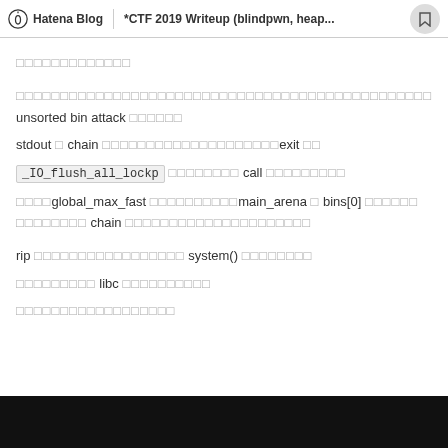Hatena Blog | *CTF 2019 Writeup (blindpwn, heap...
□□□□□□□□□□□□□
□□□□□□□□□□□□□□□□□□□□□□□□□□□□□□□□□□□□□□□□□□□□□□□ unsorted bin attack □□□□□□
stdout □ chain □□□□□□□□□□□□□□□□□□□□exit □□
_IO_flush_all_lockp □□□□□□□□ call □□□□□□□□□
□□□□global_max_fast □□□□□□□□□□main_arena □ bins[0] □□□□□□□□□□□□□ chain □□□□□□□□□□□□□□□□□□□□□
rip □□□□□□□□□□□□□□□□□ system() □□□□□□□□
□□□□□□□□□ libc □□□□□□□□□□
□□□□□□□□□□□□□□□□□□